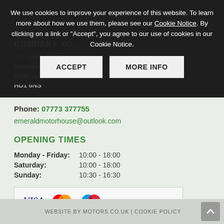We use cookies to improve your experience of this website. To learn more about how we use them, please see our Cookie Notice. By clicking on a link or "Accept", you agree to our use of cookies in our Cookie Notice.
ACCEPT   MORE INFO
277 Leeds Road
Huddersfield
West Yorkshire
HD1 6NS
Phone: 07773 377755
emeraldmotorhouse@outlook.com
OPENING TIMES
Monday - Friday: 10:00 - 18:00
Saturday: 10:00 - 18:00
Sunday: 10:30 - 16:30
[Figure (other): Payment card logos: VISA, MasterCard, Maestro]
WEBSITE BY MOTORS.CO.UK | COOKIE POLICY